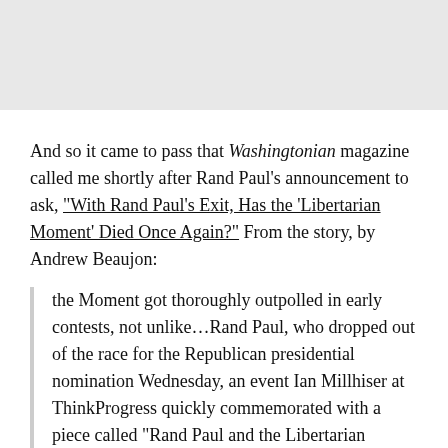[Figure (other): Gray banner/image placeholder at top of page]
And so it came to pass that Washingtonian magazine called me shortly after Rand Paul's announcement to ask, "With Rand Paul's Exit, Has the 'Libertarian Moment' Died Once Again?" From the story, by Andrew Beaujon:
the Moment got thoroughly outpolled in early contests, not unlike…Rand Paul, who dropped out of the race for the Republican presidential nomination Wednesday, an event Ian Millhiser at ThinkProgress quickly commemorated with a piece called "Rand Paul and the Libertarian Moment That Never Was" and [National Review's] Ramesh Ponnuru marked with "There Never Was a 'Libertarian Moment.'"…
Reached by phone, Gillespie…says the Libertarian Moment is [absolutely in the eye of the beholder]...